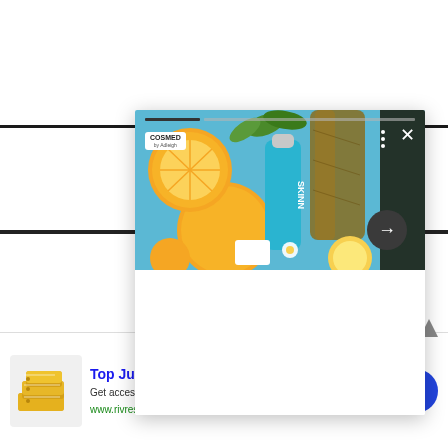[Figure (screenshot): A screenshot of a social media ad for SKINN skincare product. Shows a blue skincare bottle surrounded by oranges and citrus fruits against a blue sky background. Has a progress bar at top, brand logo pill (COSMETICS by Adleigh), three-dot menu, close X button, and a dark circular arrow button. White content area below the image.]
[Figure (screenshot): Bottom advertisement banner: 'Top Junior Gold Mining Stock' with gold bar image on left, description text 'Get access to the next top mining "Micro Cap" here!', URL 'www.rivres.com', close circle button, and blue circular arrow button on right.]
Top Junior Gold Mining Stock
Get access to the next top mining "Micro Cap" here!
www.rivres.com